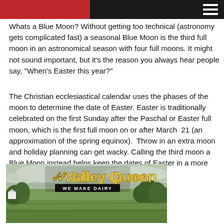Whats a Blue Moon? Without getting too technical (astronomy gets complicated fast) a seasonal Blue Moon is the third full moon in an astronomical season with four full moons. It might not sound important, but it's the reason you always hear people say, "When's Easter this year?"
The Christian ecclesiastical calendar uses the phases of the moon to determine the date of Easter. Easter is traditionally celebrated on the first Sunday after the Paschal or Easter full moon, which is the first full moon on or after March  21 (an approximation of the spring equinox).  Throw in an extra moon and holiday planning can get wacky. Calling the third moon a Blue Moon instead helps keep the dates of Easter in a more comfortable range.
[Figure (photo): Valley Queen dairy advertisement showing a rural farm landscape with green fields and trees under a cloudy sky, with the Valley Queen 'WE MAKE DAIRY' logo overlaid at the top center.]